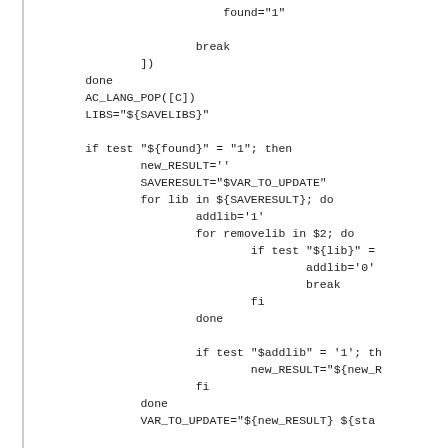found="1"

            break
        ])
    done
    AC_LANG_POP([C])
    LIBS="${SAVELIBS}"

    if test "${found}" = "1"; then
            new_RESULT=''
            SAVERESULT="$VAR_TO_UPDATE"
            for lib in ${SAVERESULT}; do
                    addlib='1'
                    for removelib in $2; do
                            if test "${lib}" =
                                    addlib='0'
                                    break
                            fi
                    done

                    if test "$addlib" = '1'; th
                            new_RESULT="${new_R
                    fi
            done
            VAR_TO_UPDATE="${new_RESULT} ${sta

            AC_MSG_RESULT([${staticlib}])

            $4
    else
            AC_MSG_RESULT([cant])